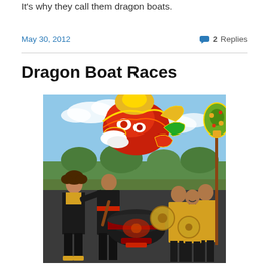It's why they call them dragon boats.
May 30, 2012
2 Replies
Dragon Boat Races
[Figure (photo): People in traditional costumes performing a dragon dance with a large colorful dragon head prop, drums, and ceremonial items outdoors]